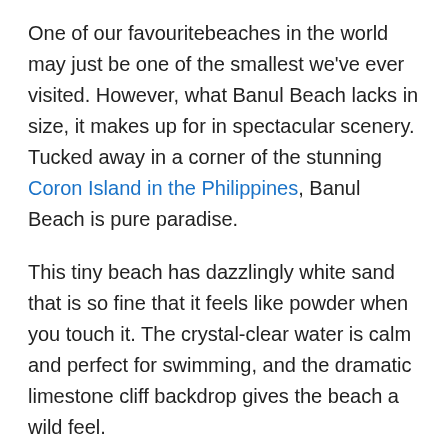One of our favouritebeaches in the world may just be one of the smallest we've ever visited. However, what Banul Beach lacks in size, it makes up for in spectacular scenery. Tucked away in a corner of the stunning Coron Island in the Philippines, Banul Beach is pure paradise.
This tiny beach has dazzlingly white sand that is so fine that it feels like powder when you touch it. The crystal-clear water is calm and perfect for swimming, and the dramatic limestone cliff backdrop gives the beach a wild feel.
It's one of those places where you have to pinch yourself to believe that it's real. What makes it even more special is that as long as you arrive before the tour groups turn up for lunch, you will have one of the best beaches in the world all to yourself. There are few beaches this beautiful where you can